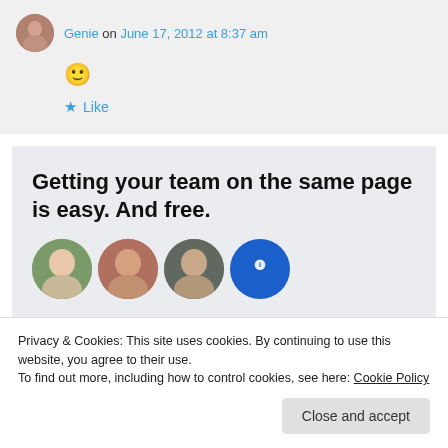Genie on June 17, 2012 at 8:37 am
🙂
★ Like
[Figure (illustration): Promotional box with bold text: Getting your team on the same page is easy. And free. With circular profile photo thumbnails below.]
Privacy & Cookies: This site uses cookies. By continuing to use this website, you agree to their use.
To find out more, including how to control cookies, see here: Cookie Policy
Close and accept